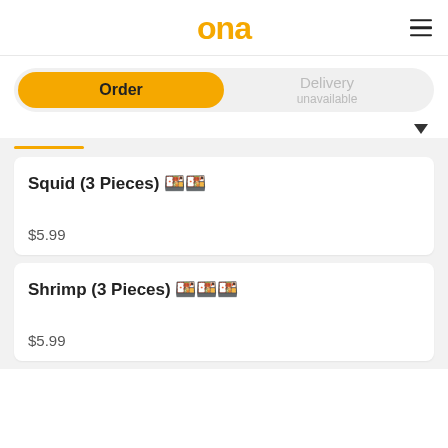ona
Order | Delivery unavailable
Squid (3 Pieces) 🍱
$5.99
Shrimp (3 Pieces) 🍱🍱🍱
$5.99